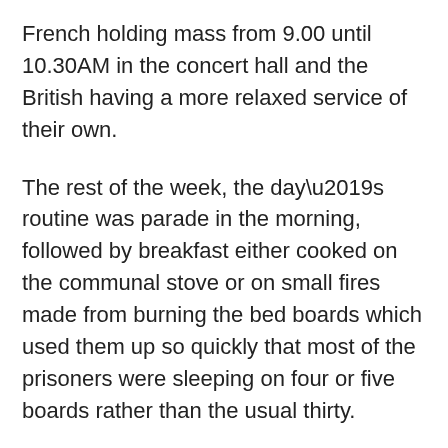French holding mass from 9.00 until 10.30AM in the concert hall and the British having a more relaxed service of their own.
The rest of the week, the day’s routine was parade in the morning, followed by breakfast either cooked on the communal stove or on small fires made from burning the bed boards which used them up so quickly that most of the prisoners were sleeping on four or five boards rather than the usual thirty.
Recreation consisted of organised P.T. every day and Prisoners were allowed to go outside the camp to the football ground between 14.00 and 16.00 hours but were strictly guarded. Deck tennis was played inside the wire. At its height,